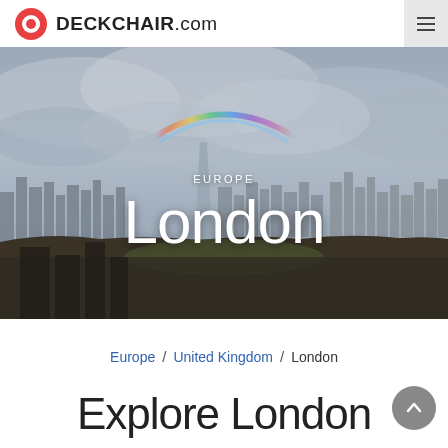DECKCHAIR.com
[Figure (photo): Aerial panoramic photo of London cityline under a dramatic cloudy sky with a faint rainbow visible, showing skyscrapers including The Shard and green parkland in the foreground.]
EUROPE
London
Europe / United Kingdom / London
Explore London